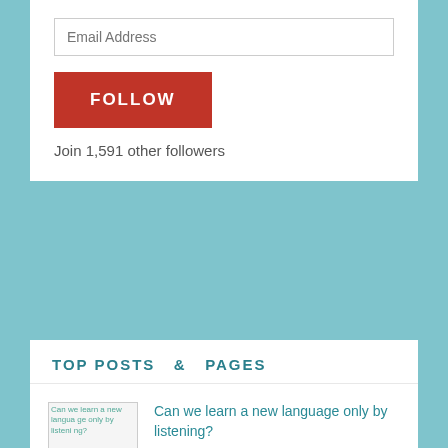[Figure (screenshot): Email address input field with placeholder text]
[Figure (screenshot): Red FOLLOW button]
Join 1,591 other followers
TOP POSTS & PAGES
[Figure (photo): Thumbnail image for article: Can we learn a new language only by listening?]
Can we learn a new language only by listening?
[Figure (photo): Thumbnail image for article: What the British say... and what they mean...]
What the British say... and what they mean...